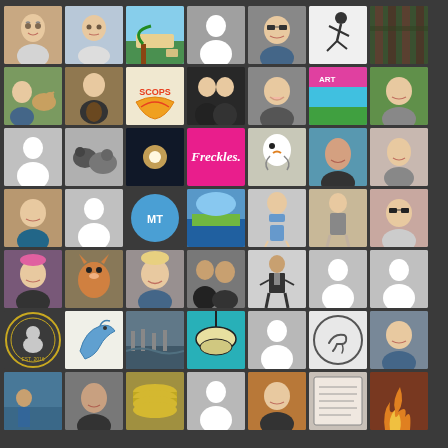[Figure (photo): Grid of user profile photos and avatars arranged in 7 rows of 7 images each, displayed on a dark gray background. Images include portraits, silhouette placeholders, nature photos, logos, and various profile images.]